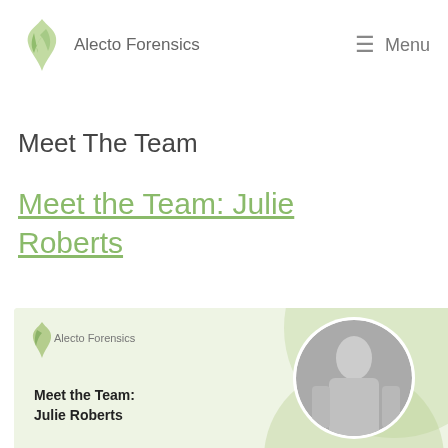Alecto Forensics | Menu
Meet The Team
Meet the Team: Julie Roberts
[Figure (illustration): Alecto Forensics branded card image with green decorative circles, small logo top-left, bold text 'Meet the Team: Julie Roberts' bottom-left, and a circular grayscale photo of Julie Roberts on the right.]